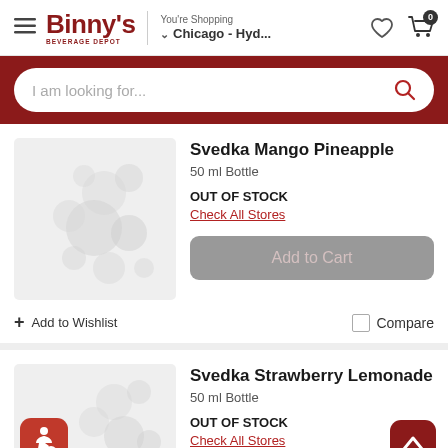Binny's Beverage Depot — You're Shopping Chicago - Hyd...
I am looking for...
Svedka Mango Pineapple
50 ml Bottle
OUT OF STOCK
Check All Stores
Add to Cart
+ Add to Wishlist
Compare
Svedka Strawberry Lemonade
50 ml Bottle
OUT OF STOCK
Check All Stores